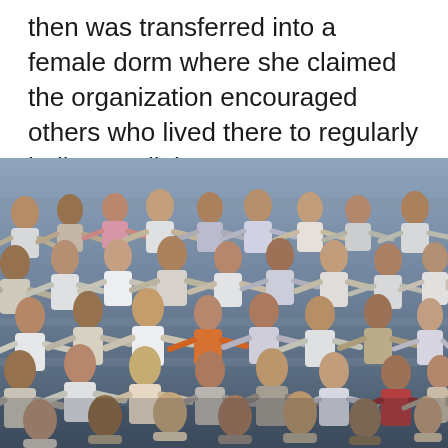then was transferred into a female dorm where she claimed the organization encouraged others who lived there to regularly bully & stalk her.
[Figure (photo): A large crowd of people in what appears to be an indoor arena or large gathering, many with arms outstretched to the sides.]